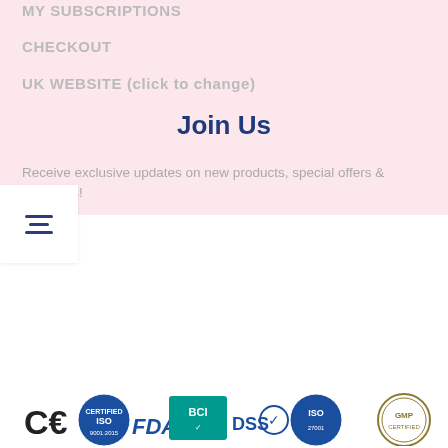MY SUBSCRIPTIONS
CHECKOUT
UK WEBSITE (click to change)
Join Us
Receive exclusive updates on new products, special offers & discounts!
[Figure (logo): Row of certification and compliance logos including CE, ISO, FDA, BCI, DSS, ISO, and GMP badges]